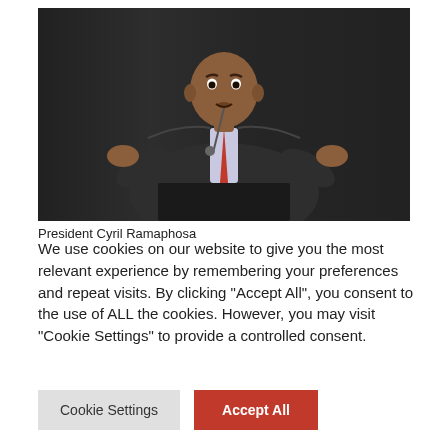[Figure (photo): President Cyril Ramaphosa speaking at a podium with a microphone, wearing a dark suit and red striped tie, gesturing with both hands, against a dark curtained background.]
President Cyril Ramaphosa
We use cookies on our website to give you the most relevant experience by remembering your preferences and repeat visits. By clicking “Accept All”, you consent to the use of ALL the cookies. However, you may visit "Cookie Settings" to provide a controlled consent.
Cookie Settings
Accept All